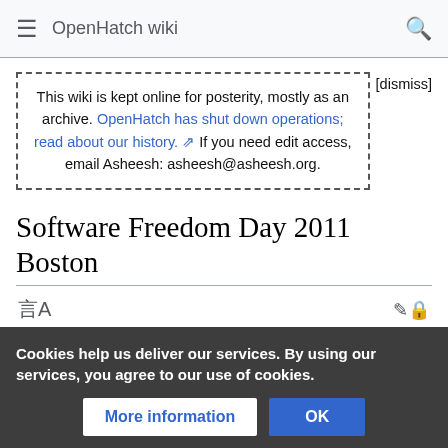≡  OpenHatch wiki  🔍
This wiki is kept online for posterity, mostly as an archive. OpenHatch has shut down operations; read about our history. ↗ If you need edit access, email Asheesh: asheesh@asheesh.org.
[dismiss]
Software Freedom Day 2011 Boston
← Revision as of 22:14, 4 May 2012 by 188.143.232.12 (talk) (UvqwdWAmTWRO) (diff) ← Older revision | Latest revision (diff) | Newer revision → (diff)
Cookies help us deliver our services. By using our services, you agree to our use of cookies.